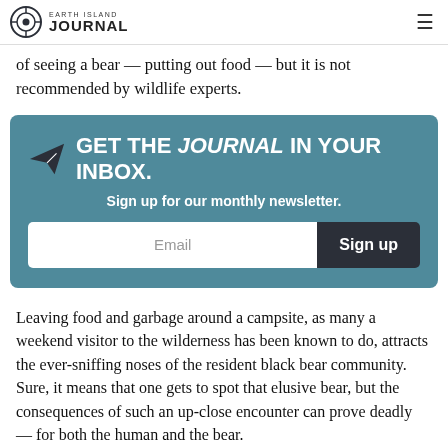EARTH ISLAND JOURNAL
of seeing a bear — putting out food — but it is not recommended by wildlife experts.
[Figure (infographic): Newsletter signup box with paper plane icon. Headline: GET THE JOURNAL IN YOUR INBOX. Subtext: Sign up for our monthly newsletter. Email input field with Sign up button.]
Leaving food and garbage around a campsite, as many a weekend visitor to the wilderness has been known to do, attracts the ever-sniffing noses of the resident black bear community. Sure, it means that one gets to spot that elusive bear, but the consequences of such an up-close encounter can prove deadly — for both the human and the bear.